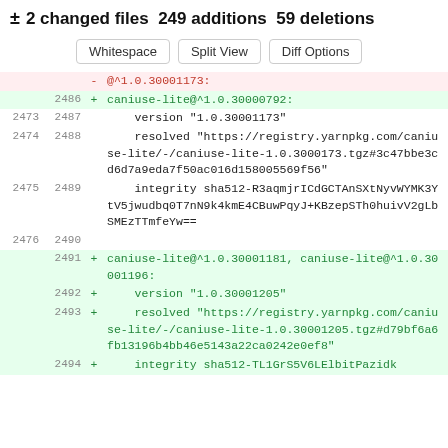± 2 changed files 249 additions 59 deletions
Whitespace  Split View  Diff Options
| old | new | sign | code |
| --- | --- | --- | --- |
|  |  | - | @^1.0.30001173: |
|  | 2486 | + | caniuse-lite@^1.0.30000792: |
| 2473 | 2487 |  |     version "1.0.30001173" |
| 2474 | 2488 |  |     resolved "https://registry.yarnpkg.com/caniuse-lite/-/caniuse-lite-1.0.30001173.tgz#3c47bbe3cd6d7a9eda7f50ac016d158005569f56" |
| 2475 | 2489 |  |     integrity sha512-R3aqmjrICdGCTAnSXtNyvWYMK3YtV5jwudbq0T7nN9k4kmE4CBuwPqyJ+KBzepSTh0huivV2gLbSMEzTTmfeYw== |
| 2476 | 2490 |  |  |
|  | 2491 | + | caniuse-lite@^1.0.30001181, caniuse-lite@^1.0.30001196: |
|  | 2492 | + |     version "1.0.30001205" |
|  | 2493 | + |     resolved "https://registry.yarnpkg.com/caniuse-lite/-/caniuse-lite-1.0.30001205.tgz#d79bf6a6fb13196b4bb46e5143a22ca0242e0ef8" |
|  | 2494 | + |     integrity sha512-TL1GrS5V6LElbitPazidk |